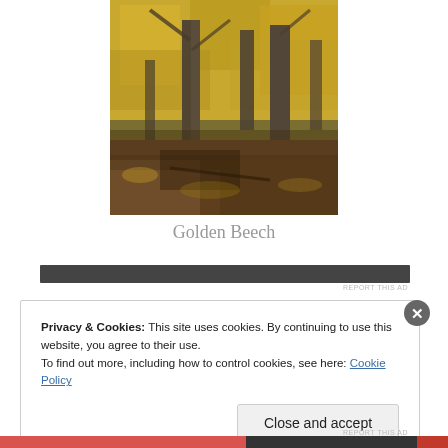[Figure (photo): A photograph of a golden beech forest in autumn, showing tall tree trunks with yellow-gold foliage canopy and fallen leaves on the forest floor.]
Golden Beech
REPORT THIS AD
Privacy & Cookies: This site uses cookies. By continuing to use this website, you agree to their use.
To find out more, including how to control cookies, see here: Cookie Policy
Close and accept